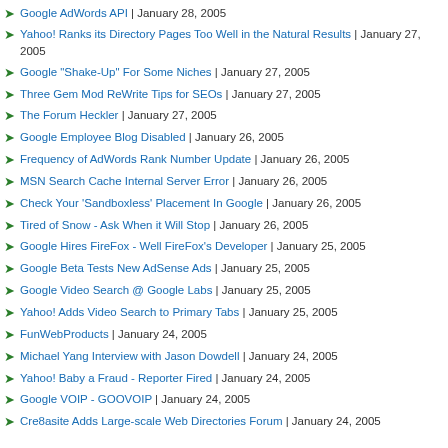Google AdWords API | January 28, 2005
Yahoo! Ranks its Directory Pages Too Well in the Natural Results | January 27, 2005
Google "Shake-Up" For Some Niches | January 27, 2005
Three Gem Mod ReWrite Tips for SEOs | January 27, 2005
The Forum Heckler | January 27, 2005
Google Employee Blog Disabled | January 26, 2005
Frequency of AdWords Rank Number Update | January 26, 2005
MSN Search Cache Internal Server Error | January 26, 2005
Check Your 'Sandboxless' Placement In Google | January 26, 2005
Tired of Snow - Ask When it Will Stop | January 26, 2005
Google Hires FireFox - Well FireFox's Developer | January 25, 2005
Google Beta Tests New AdSense Ads | January 25, 2005
Google Video Search @ Google Labs | January 25, 2005
Yahoo! Adds Video Search to Primary Tabs | January 25, 2005
FunWebProducts | January 24, 2005
Michael Yang Interview with Jason Dowdell | January 24, 2005
Yahoo! Baby a Fraud - Reporter Fired | January 24, 2005
Google VOIP - GOOVOIP | January 24, 2005
Cre8asite Adds Large-scale Web Directories Forum | January 24, 2005